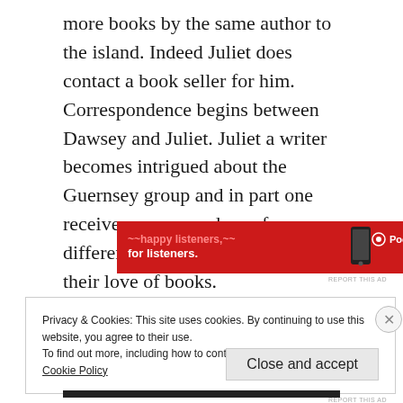more books by the same author to the island. Indeed Juliet does contact a book seller for him. Correspondence begins between Dawsey and Juliet. Juliet a writer becomes intrigued about the Guernsey group and in part one receives correspondence from different members, who express their love of books.
[Figure (other): Red Pocket Casts advertisement banner reading 'for listeners.' with a phone image and Pocket Casts logo]
REPORT THIS AD
Privacy & Cookies: This site uses cookies. By continuing to use this website, you agree to their use.
To find out more, including how to control cookies, see here:
Cookie Policy
Close and accept